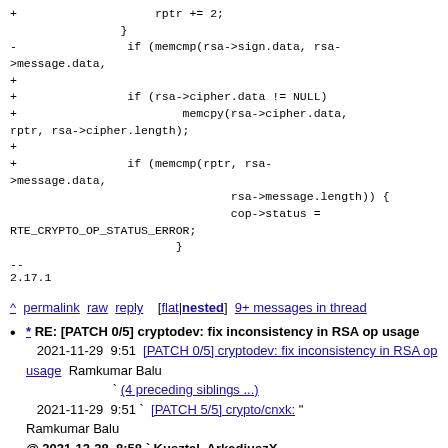rptr -= 1; rptr += sign.length);
+                    rptr += 2;
                }
-                if (memcmp(rsa->sign.data, rsa->message.data,
+
+                if (rsa->cipher.data != NULL)
+                        memcpy(rsa->cipher.data, rptr, rsa->cipher.length);
+
+                if (memcmp(rptr, rsa->message.data,
                                        rsa->message.length)) {
                                cop->status = RTE_CRYPTO_OP_STATUS_ERROR;
                        }
--
2.17.1
^ permalink raw reply [flat|nested] 9+ messages in thread
* RE: [PATCH 0/5] cryptodev: fix inconsistency in RSA op usage
2021-11-29 9:51 [PATCH 0/5] cryptodev: fix inconsistency in RSA op usage Ramkumar Balu
` (4 preceding siblings ...)
2021-11-29 9:51 ` [PATCH 5/5] crypto/cnxk: " Ramkumar Balu
@ 2021-12-28 8:58 ` Kusztal, ArkadiuszX